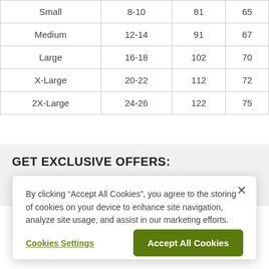| Small | 8-10 | 81 | 65 |
| Medium | 12-14 | 91 | 67 |
| Large | 16-18 | 102 | 70 |
| X-Large | 20-22 | 112 | 72 |
| 2X-Large | 24-26 | 122 | 75 |
GET EXCLUSIVE OFFERS:
By clicking “Accept All Cookies”, you agree to the storing of cookies on your device to enhance site navigation, analyze site usage, and assist in our marketing efforts.
Cookies Settings | Accept All Cookies